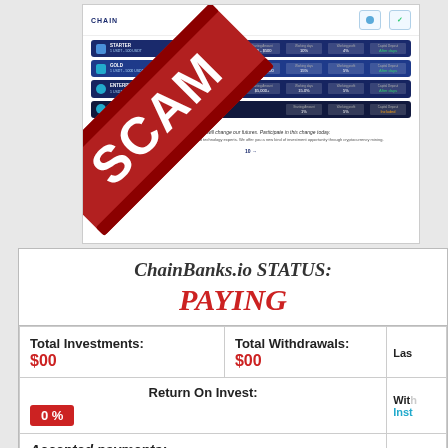[Figure (screenshot): Screenshot of ChainBanks.io website showing investment plans in dark navy blue rows, with a large red SCAM ribbon overlay diagonally across the top-left.]
ChainBanks.io STATUS: PAYING
| Total Investments: | Total Withdrawals: | Las... |
| --- | --- | --- |
| $00 | $00 |  |
| Return On Invest:
0 % |  | Wit...
Inst... |
| Accepted payments:
[coin icons] |  | Min... |